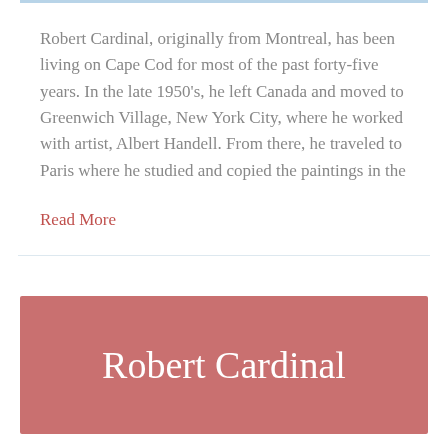Robert Cardinal, originally from Montreal, has been living on Cape Cod for most of the past forty-five years. In the late 1950's, he left Canada and moved to Greenwich Village, New York City, where he worked with artist, Albert Handell. From there, he traveled to Paris where he studied and copied the paintings in the
Read More
Robert Cardinal